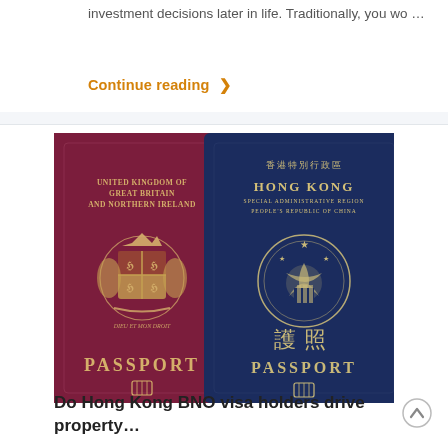investment decisions later in life. Traditionally, you wo …
Continue reading ❯
[Figure (photo): Two passports side by side: a maroon United Kingdom of Great Britain and Northern Ireland passport on the left, and a navy blue Hong Kong Special Administrative Region People's Republic of China passport on the right, lying on straw.]
Do Hong Kong BNO visa holders drive property…